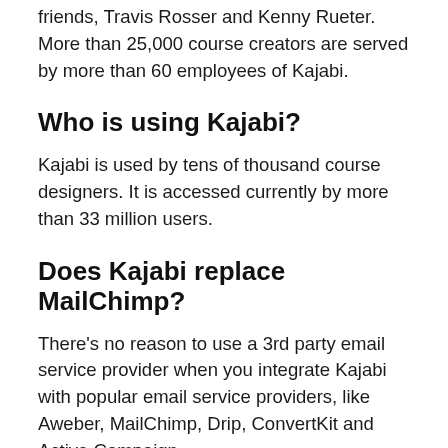friends, Travis Rosser and Kenny Rueter. More than 25,000 course creators are served by more than 60 employees of Kajabi.
Who is using Kajabi?
Kajabi is used by tens of thousand course designers. It is accessed currently by more than 33 million users.
Does Kajabi replace MailChimp?
There’s no reason to use a 3rd party email service provider when you integrate Kajabi with popular email service providers, like Aweber, MailChimp, Drip, ConvertKit and Active Campaign.